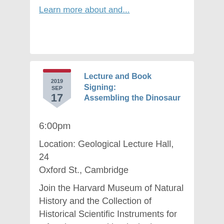Learn more about and...
[Figure (illustration): Shield/badge calendar icon showing 2019 SEP 17 with a red top bar and grey shield shape]
Lecture and Book Signing: Assembling the Dinosaur
6:00pm
Location: Geological Lecture Hall, 24 Oxford St., Cambridge
Join the Harvard Museum of Natural History and the Collection of Historical Scientific Instruments for a free lecture and book signing by Lukas Rieppell, David and Michelle Ebersman Assistant